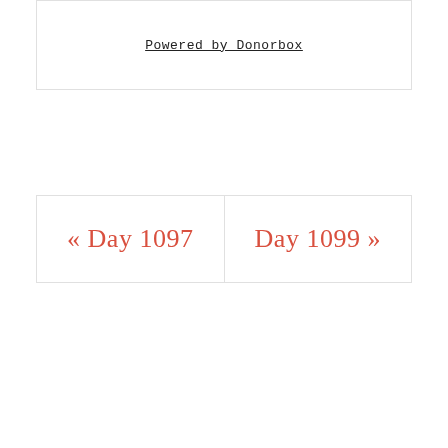Powered by Donorbox
« Day 1097
Day 1099 »